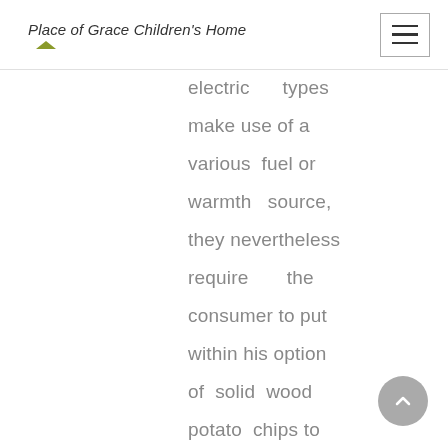Place of Grace Children's Home
electric types make use of a various fuel or warmth source, they nevertheless require the consumer to put within his option of solid wood potato chips to put upward to the smoke or make the preferred smoke flavor. The